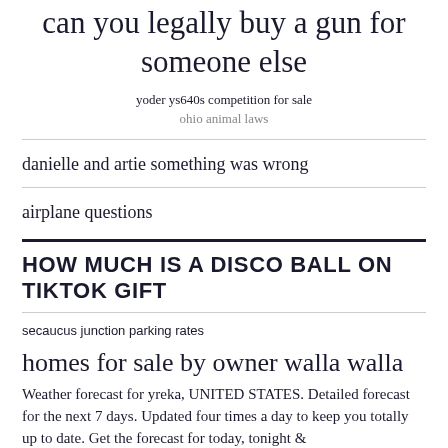can you legally buy a gun for someone else
yoder ys640s competition for sale
ohio animal laws
danielle and artie something was wrong
airplane questions
HOW MUCH IS A DISCO BALL ON TIKTOK GIFT
secaucus junction parking rates
homes for sale by owner walla walla
Weather forecast for yreka, UNITED STATES. Detailed forecast for the next 7 days. Updated four times a day to keep you totally up to date. Get the forecast for today, tonight &